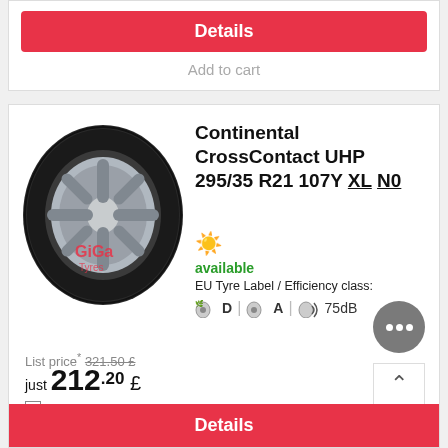Details
Add to cart
[Figure (photo): Continental CrossContact UHP tire product photo with Giga Tyres watermark]
Continental CrossContact UHP 295/35 R21 107Y XL N0
available
EU Tyre Label / Efficiency class:
D  A  75dB
List price: 321.50 £
just 212.20 £
bookmark & compare
Details